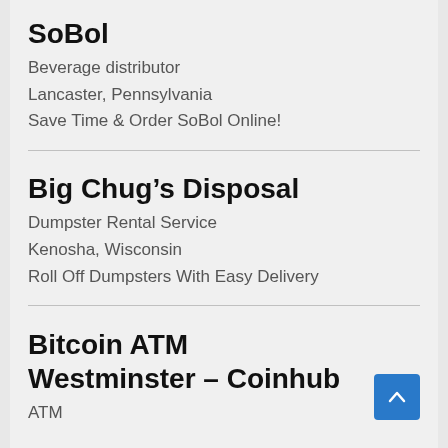SoBol
Beverage distributor
Lancaster, Pennsylvania
Save Time & Order SoBol Online!
Big Chug’s Disposal
Dumpster Rental Service
Kenosha, Wisconsin
Roll Off Dumpsters With Easy Delivery
Bitcoin ATM Westminster – Coinhub
ATM